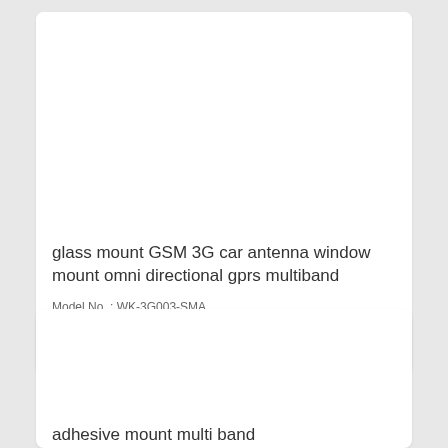[Figure (photo): Product image area for glass mount GSM 3G car antenna (white/blank area)]
glass mount GSM 3G car antenna window mount omni directional gprs multiband
Model No. : WK-3G003-SMA
Brand Name : Walk
US $ 2.7
[Figure (photo): Product image area for adhesive mount multi band GSM 3G car antenna (white/blank area)]
adhesive mount multi band 850/900/1800/1900/2170MHz GSM 3G car antenna
Model No. : WK-3G004-SMA